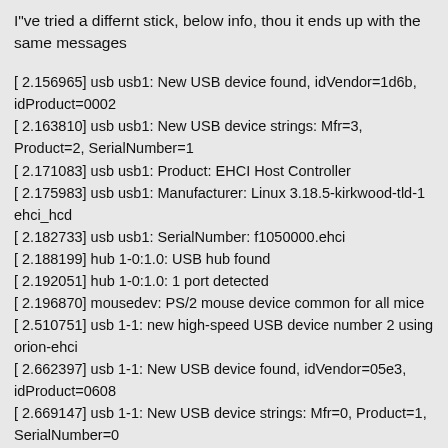I"ve tried a differnt stick, below info, thou it ends up with the same messages
[ 2.156965] usb usb1: New USB device found, idVendor=1d6b, idProduct=0002
[ 2.163810] usb usb1: New USB device strings: Mfr=3, Product=2, SerialNumber=1
[ 2.171083] usb usb1: Product: EHCI Host Controller
[ 2.175983] usb usb1: Manufacturer: Linux 3.18.5-kirkwood-tld-1 ehci_hcd
[ 2.182733] usb usb1: SerialNumber: f1050000.ehci
[ 2.188199] hub 1-0:1.0: USB hub found
[ 2.192051] hub 1-0:1.0: 1 port detected
[ 2.196870] mousedev: PS/2 mouse device common for all mice
[ 2.510751] usb 1-1: new high-speed USB device number 2 using orion-ehci
[ 2.662397] usb 1-1: New USB device found, idVendor=05e3, idProduct=0608
[ 2.669147] usb 1-1: New USB device strings: Mfr=0, Product=1, SerialNumber=0
[ 2.676352] usb 1-1: Product: USB2.0 Hub
[ 2.681239] hub 1-1:1.0: USB hub found
[ 2.685395] hub 1-1:1.0: 4 ports detected